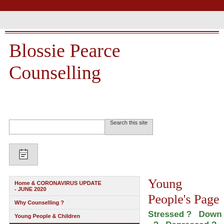Blossie Pearce Counselling
Home & CORONAVIRUS UPDATE - JUNE 2020
Why Counselling ?
Young People & Children
Young People's Page
The Counsellor
Location
Fees & Confidentiality
Contact & Directions
Young People's Page
Stressed ?   Down ?   Depressed ? Feeling sad, lonely...